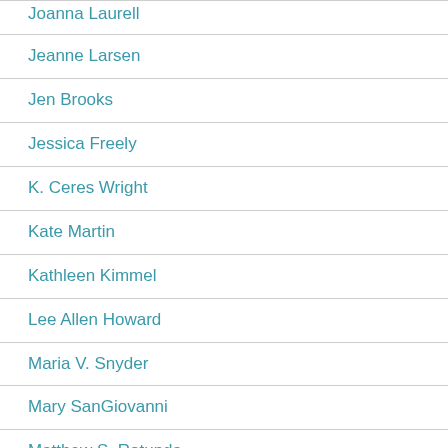Joanna Laurell
Jeanne Larsen
Jen Brooks
Jessica Freely
K. Ceres Wright
Kate Martin
Kathleen Kimmel
Lee Allen Howard
Maria V. Snyder
Mary SanGiovanni
Matthew S. Rotunda